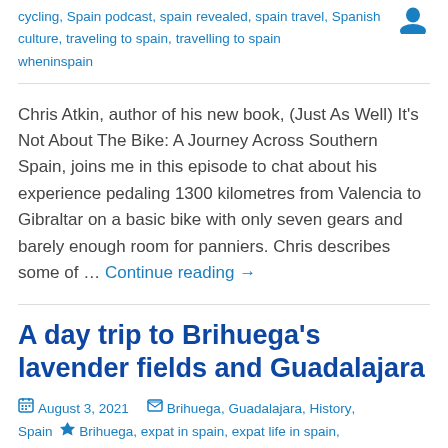cycling, Spain podcast, spain revealed, spain travel, Spanish culture, traveling to spain, travelling to spain wheninspain
Chris Atkin, author of his new book, (Just As Well) It's Not About The Bike: A Journey Across Southern Spain, joins me in this episode to chat about his experience pedaling 1300 kilometres from Valencia to Gibraltar on a basic bike with only seven gears and barely enough room for panniers. Chris describes some of … Continue reading →
A day trip to Brihuega's lavender fields and Guadalajara
August 3, 2021  Brihuega, Guadalajara, History, Spain  Brihuega, expat in spain, expat life in spain, expat spain, Guadalajara, history of spain, lavanda